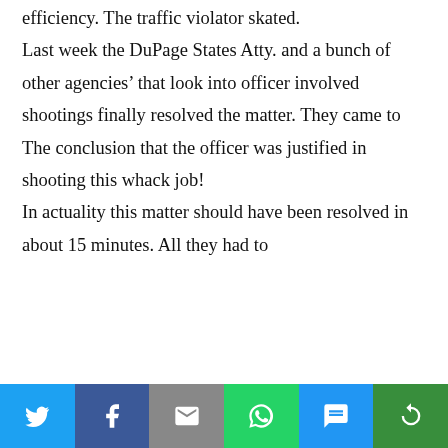efficiency. The traffic violator skated.

Last week the DuPage States Atty. and a bunch of other agencies’ that look into officer involved shootings finally resolved the matter. They came to The conclusion that the officer was justified in shooting this whack job!

In actuality this matter should have been resolved in about 15 minutes. All they had to
[Figure (infographic): Social media share bar with six buttons: Twitter (blue bird icon), Facebook (dark blue f icon), Email (grey envelope icon), WhatsApp (green phone icon), SMS (blue SMS bubble icon), More (green circular arrows icon).]